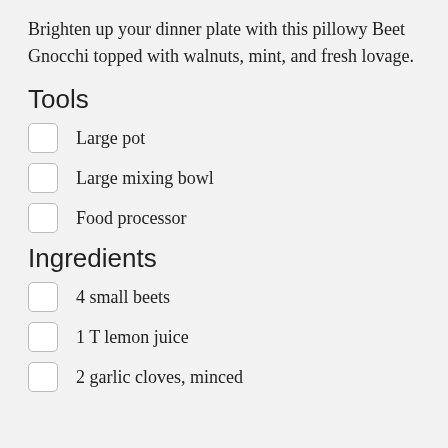Brighten up your dinner plate with this pillowy Beet Gnocchi topped with walnuts, mint, and fresh lovage.
Tools
Large pot
Large mixing bowl
Food processor
Ingredients
4 small beets
1 T lemon juice
2 garlic cloves, minced